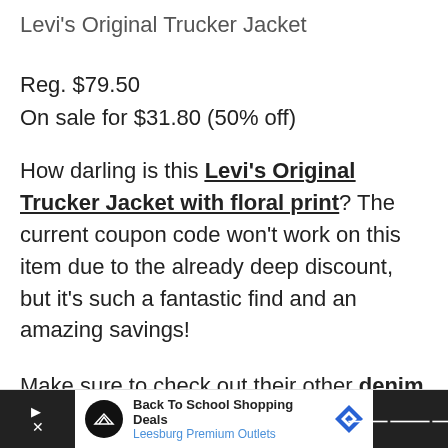Levi's Original Trucker Jacket
Reg. $79.50
On sale for $31.80 (50% off)
How darling is this Levi's Original Trucker Jacket with floral print? The current coupon code won't work on this item due to the already deep discount, but it's such a fantastic find and an amazing savings!
Make sure to check out their other denim jacket deals, they have a huge selection and
[Figure (screenshot): Advertisement bar at the bottom: Back To School Shopping Deals - Leesburg Premium Outlets with logo icons]